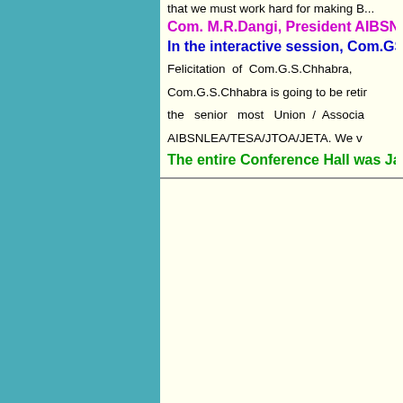that we must work hard for making B...
Com. M.R.Dangi, President AIBSN...
In the interactive session, Com.GS m...
Felicitation of Com.G.S.Chhabra, ... Com.G.S.Chhabra is going to be retir... the senior most Union / Associa... AIBSNLEA/TESA/JTOA/JETA. We v...
The entire Conference Hall was Jan...